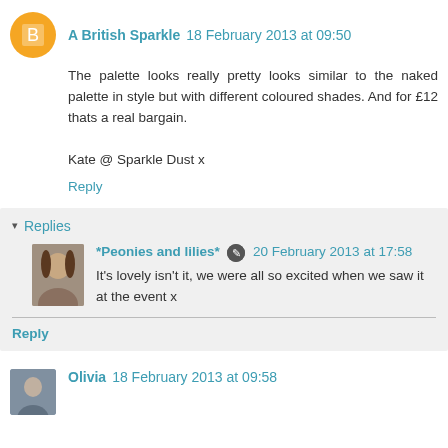A British Sparkle 18 February 2013 at 09:50
The palette looks really pretty looks similar to the naked palette in style but with different coloured shades. And for £12 thats a real bargain.

Kate @ Sparkle Dust x
Reply
Replies
*Peonies and lilies* 20 February 2013 at 17:58
It's lovely isn't it, we were all so excited when we saw it at the event x
Reply
Olivia 18 February 2013 at 09:58